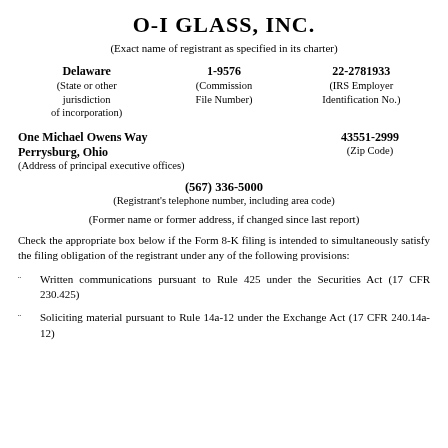O-I GLASS, INC.
(Exact name of registrant as specified in its charter)
| State/Jurisdiction | Commission File Number | IRS Employer ID |
| --- | --- | --- |
| Delaware | 1-9576 | 22-2781933 |
| (State or other jurisdiction of incorporation) | (Commission File Number) | (IRS Employer Identification No.) |
One Michael Owens Way
Perrysburg, Ohio
(Address of principal executive offices)
43551-2999
(Zip Code)
(567) 336-5000
(Registrant's telephone number, including area code)
(Former name or former address, if changed since last report)
Check the appropriate box below if the Form 8-K filing is intended to simultaneously satisfy the filing obligation of the registrant under any of the following provisions:
Written communications pursuant to Rule 425 under the Securities Act (17 CFR 230.425)
Soliciting material pursuant to Rule 14a-12 under the Exchange Act (17 CFR 240.14a-12)